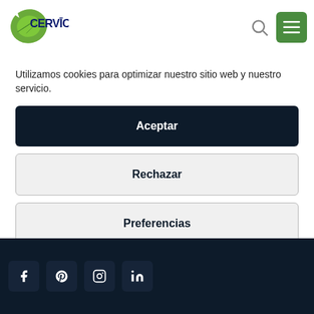[Figure (logo): CERVIC company logo with green leaf and dark blue text]
Utilizamos cookies para optimizar nuestro sitio web y nuestro servicio.
Aceptar
Rechazar
Preferencias
Política de Cookies  Política de Privacidad  Política de Privacidad
[Figure (infographic): Social media icon buttons: Facebook, Pinterest, Instagram, LinkedIn on dark navy footer]